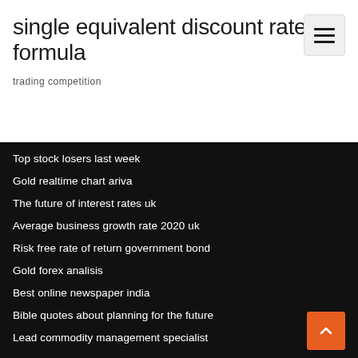single equivalent discount rate formula
trading competition
Top stock losers last week
Gold realtime chart ariva
The future of interest rates uk
Average business growth rate 2020 uk
Risk free rate of return government bond
Gold forex analisis
Best online newspaper india
Bible quotes about planning for the future
Lead commodity management specialist